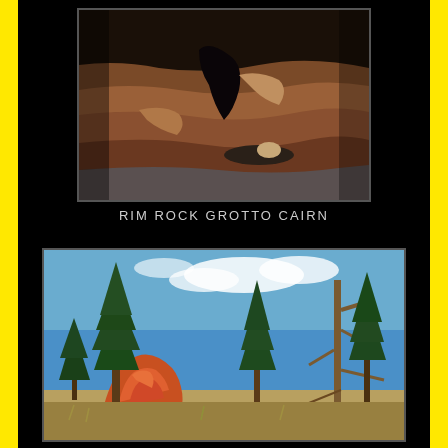[Figure (photo): Close-up photograph of sandstone rock layers in a grotto or cave formation, with a person visible lying among the layered red and grey rock surfaces]
RIM ROCK GROTTO CAIRN
[Figure (photo): Landscape photograph showing orange-red sandstone rock formation surrounded by tall pine and conifer trees against a blue sky with light clouds]